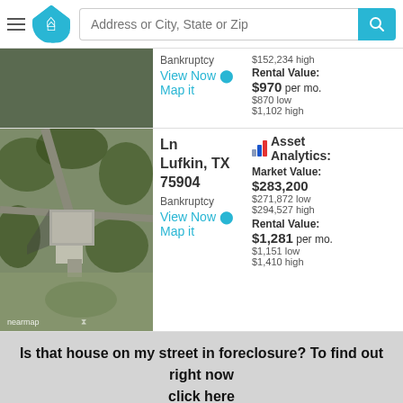Address or City, State or Zip
Bankruptcy
View Now
Map it
$152,234 high
Rental Value:
$970 per mo.
$870 low
$1,102 high
[Figure (photo): Aerial satellite view of a property in Lufkin, TX with nearmap watermark]
Ln Lufkin, TX 75904
Bankruptcy
View Now
Map it
Asset Analytics:
Market Value: $283,200
$271,872 low
$294,527 high
Rental Value:
$1,281 per mo.
$1,151 low
$1,410 high
Is that house on my street in foreclosure? To find out right now
click here
.